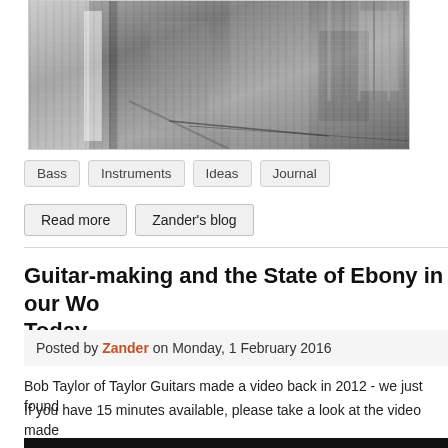[Figure (photo): Black and white photograph showing musical instruments and equipment, appears to be guitars or bass instruments in a studio or workshop setting]
Bass
Instruments
Ideas
Journal
Read more
Zander's blog
Guitar-making and the State of Ebony in our Wo Today
Posted by Zander on Monday, 1 February 2016
Bob Bob Taylor of Taylor Guitars made a video back in 2012 - we just found
If you have 15 minutes available, please take a look at the video made about the use of ebony and the changes that humanity has made of th